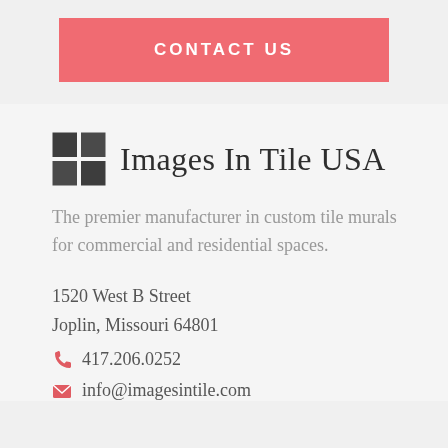CONTACT US
[Figure (logo): Images In Tile USA logo with a 2x2 dark gray tile grid icon followed by the company name text]
The premier manufacturer in custom tile murals for commercial and residential spaces.
1520 West B Street
Joplin, Missouri 64801
417.206.0252
info@imagesintile.com